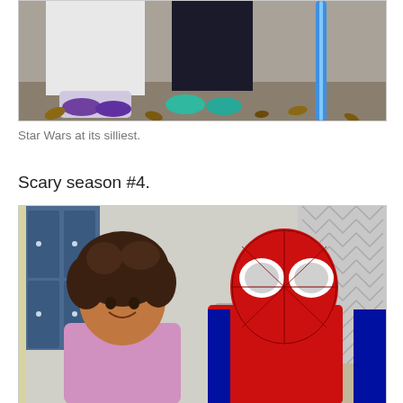[Figure (photo): Bottom portion of children in Halloween costumes standing outside on a sidewalk. One child in a white ghost costume, another in dark pants with teal shoes, and a blue lightsaber prop visible. Leaves on ground.]
Star Wars at its silliest.
Scary season #4.
[Figure (photo): A young girl with curly hair wearing a pink/purple princess costume smiling, next to a person in a full red and blue Spider-Man costume. They are indoors with a chevron-patterned curtain and blue lockers in the background.]